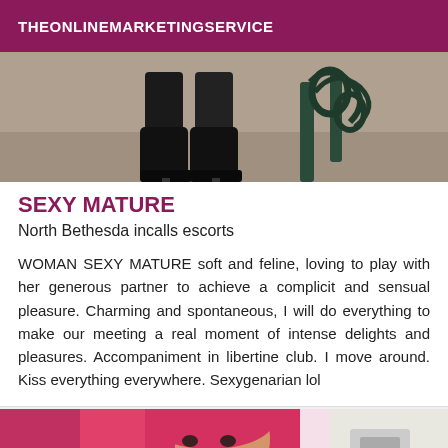THEONLINEMARKETINGSERVICE
[Figure (photo): Partial view of a person's legs wearing black heeled boots, standing near an ornate dark green metal bench or chair, on a gravel/stone surface.]
SEXY MATURE
North Bethesda incalls escorts
WOMAN SEXY MATURE soft and feline, loving to play with her generous partner to achieve a complicit and sensual pleasure. Charming and spontaneous, I will do everything to make our meeting a real moment of intense delights and pleasures. Accompaniment in libertine club. I move around. Kiss everything everywhere. Sexygenarian lol
[Figure (photo): Woman with pink hair, face partially visible, in a pink and white setting.]